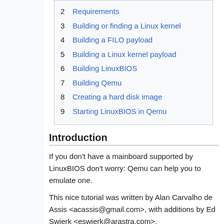2 Requirements
3 Building or finding a Linux kernel
4 Building a FILO payload
5 Building a Linux kernel payload
6 Building LinuxBIOS
7 Building Qemu
8 Creating a hard disk image
9 Starting LinuxBIOS in Qemu
Introduction
If you don't have a mainboard supported by LinuxBIOS don't worry: Qemu can help you to emulate one.
This nice tutorial was written by Alan Carvalho de Assis <acassis@gmail.com>, with additions by Ed Swierk <eswierk@arastra.com>.
While there are many ways to use LinuxBIOS to load and run a Linux